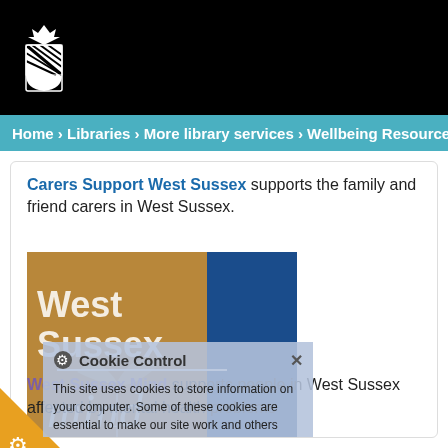[Figure (logo): West Sussex County Council shield/crest logo in white on black background]
Home › Libraries › More library services › Wellbeing Resource
Carers Support West Sussex supports the family and friend carers in West Sussex.
[Figure (screenshot): Cookie Control overlay dialogue on top of Carers Support West Sussex and West Sussex Mind logos. Cookie Control panel shows text: 'This site uses cookies to store information on your computer. Some of these cookies are essential to make our site work and others help us to improve by giving us some insight into how the site is being used.' with 'Information and Settings' button and 'About this tool' link.]
West Sussex Mind supports people in West Sussex affected by mental health problems